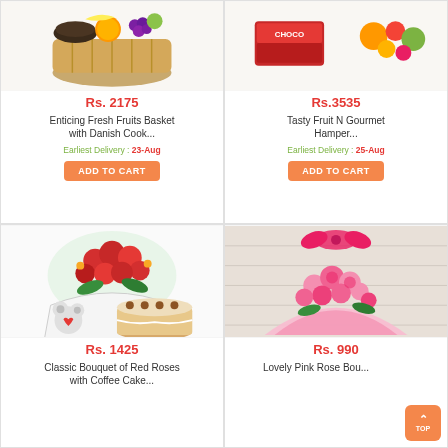[Figure (photo): Fruit basket with Danish cookies top portion]
Rs. 2175
Enticing Fresh Fruits Basket with Danish Cook...
Earliest Delivery : 23-Aug
ADD TO CART
[Figure (photo): Tasty Fruit N Gourmet Hamper top portion]
Rs.3535
Tasty Fruit N Gourmet Hamper...
Earliest Delivery : 25-Aug
ADD TO CART
[Figure (photo): Classic bouquet of red roses with coffee cake and teddy bear]
Rs. 1425
Classic Bouquet of Red Roses with Coffee Cake...
[Figure (photo): Lovely pink rose bouquet wrapped in pink paper]
Rs. 990
Lovely Pink Rose Bou...